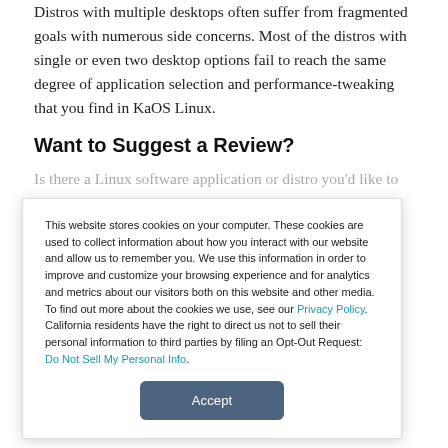Distros with multiple desktops often suffer from fragmented goals with numerous side concerns. Most of the distros with single or even two desktop options fail to reach the same degree of application selection and performance-tweaking that you find in KaOS Linux.
Want to Suggest a Review?
Is there a Linux software application or distro you'd like to
This website stores cookies on your computer. These cookies are used to collect information about how you interact with our website and allow us to remember you. We use this information in order to improve and customize your browsing experience and for analytics and metrics about our visitors both on this website and other media. To find out more about the cookies we use, see our Privacy Policy. California residents have the right to direct us not to sell their personal information to third parties by filing an Opt-Out Request: Do Not Sell My Personal Info.
Accept